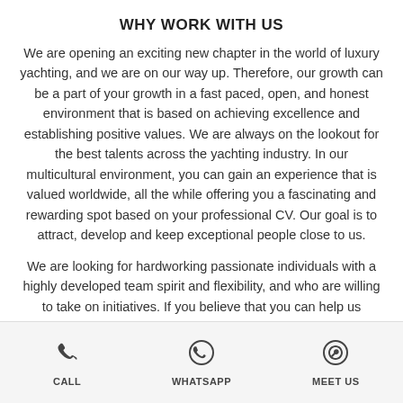WHY WORK WITH US
We are opening an exciting new chapter in the world of luxury yachting, and we are on our way up. Therefore, our growth can be a part of your growth in a fast paced, open, and honest environment that is based on achieving excellence and establishing positive values. We are always on the lookout for the best talents across the yachting industry. In our multicultural environment, you can gain an experience that is valued worldwide, all the while offering you a fascinating and rewarding spot based on your professional CV. Our goal is to attract, develop and keep exceptional people close to us.
We are looking for hardworking passionate individuals with a highly developed team spirit and flexibility, and who are willing to take on initiatives. If you believe that you can help us achieve our goals and ambitions while
CALL   WHATSAPP   MEET US